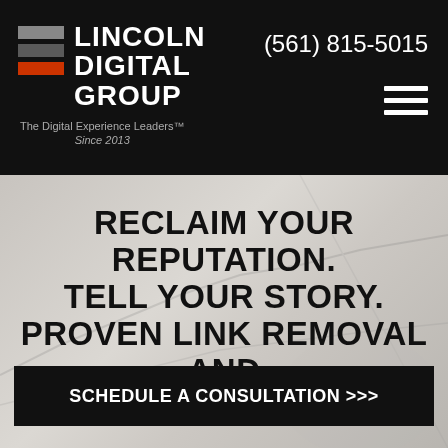[Figure (logo): Lincoln Digital Group logo with three horizontal bars (gray, dark gray, red/orange) next to bold white stacked text LINCOLN DIGITAL GROUP]
(561) 815-5015
The Digital Experience Leaders™
Since 2013
RECLAIM YOUR REPUTATION. TELL YOUR STORY. PROVEN LINK REMOVAL AND LINK SUPPRESSION
SCHEDULE A CONSULTATION >>>